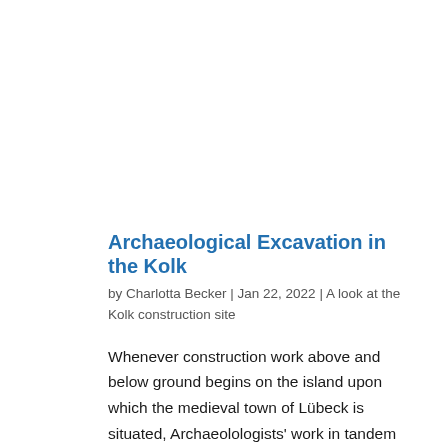Archaeological Excavation in the Kolk
by Charlotta Becker | Jan 22, 2022 | A look at the Kolk construction site
Whenever construction work above and below ground begins on the island upon which the medieval town of Lübeck is situated, Archaeolologists' work in tandem with the construction company because the entire town; situated on the island (Lübeck has other suburbs